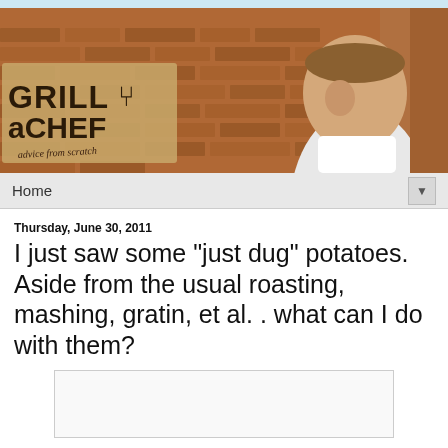[Figure (photo): Banner photo showing 'GRILL a CHEF – advice from scratch' logo on left side and a young male chef in white uniform against a brick wall background on the right.]
Home
Thursday, June 30, 2011
I just saw some "just dug" potatoes. Aside from the usual roasting, mashing, gratin, et al. . what can I do with them?
[Figure (other): Empty comment input box area]